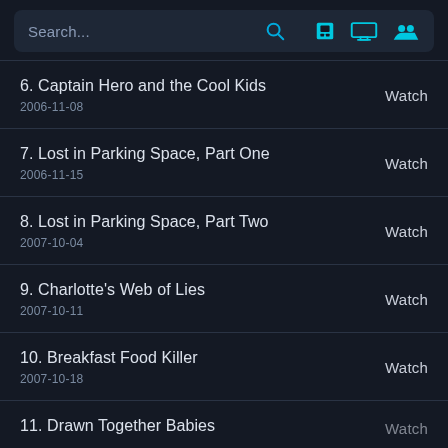Search...
6. Captain Hero and the Cool Kids
2006-11-08
Watch
7. Lost in Parking Space, Part One
2006-11-15
Watch
8. Lost in Parking Space, Part Two
2007-10-04
Watch
9. Charlotte's Web of Lies
2007-10-11
Watch
10. Breakfast Food Killer
2007-10-18
Watch
11. Drawn Together Babies
Watch